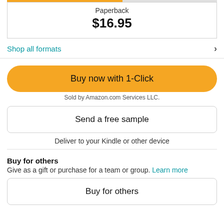Paperback
$16.95
Shop all formats
Buy now with 1-Click
Sold by Amazon.com Services LLC.
Send a free sample
Deliver to your Kindle or other device
Buy for others
Give as a gift or purchase for a team or group. Learn more
Buy for others